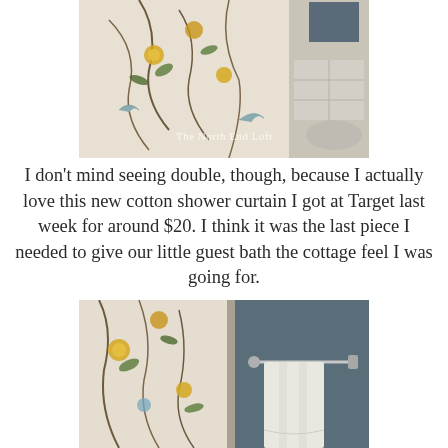[Figure (photo): Close-up photo of a floral and bird-patterned cotton shower curtain beside a bathroom sink. Watermark reads 'The North End Loft'.]
I don't mind seeing double, though, because I actually love this new cotton shower curtain I got at Target last week for around $20. I think it was the last piece I needed to give our little guest bath the cottage feel I was going for.
[Figure (photo): Photo of a floral and bird-patterned shower curtain in a bathroom with dark slate-blue walls and a chrome towel bar with white towels.]